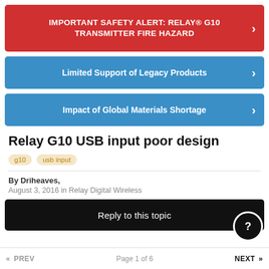IMPORTANT SAFETY ALERT: RELAY® G10 TRANSMITTER FIRE HAZARD
Limited Support of Legacy Products
Impact of Global Materials Shortage
Relay G10 USB input poor design
g10
usb input
By Driheaves,
August 3, 2016 in Relay Digital Wireless
Reply to this topic
« PREV   Page 1 of 6   NEXT »